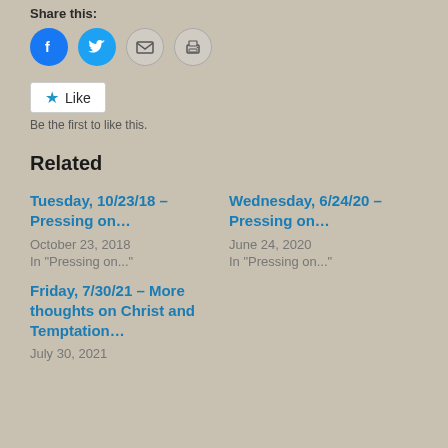Share this:
[Figure (infographic): Four social sharing icon buttons: Facebook (blue circle with F), Twitter (blue circle with bird), Email (grey circle with envelope), Print (grey circle with printer)]
[Figure (other): Like button with star icon, followed by text 'Be the first to like this.']
Related
Tuesday, 10/23/18 – Pressing on…
October 23, 2018
In "Pressing on..."
Wednesday, 6/24/20 – Pressing on…
June 24, 2020
In "Pressing on..."
Friday, 7/30/21 – More thoughts on Christ and Temptation…
July 30, 2021